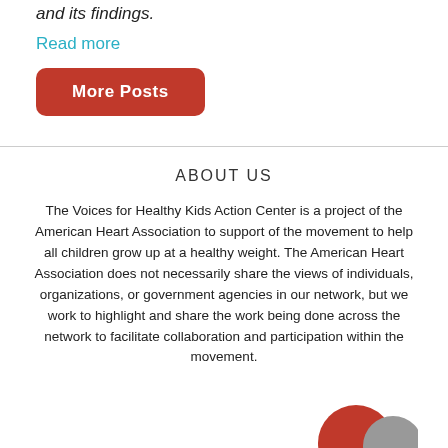and its findings.
Read more
More Posts
ABOUT US
The Voices for Healthy Kids Action Center is a project of the American Heart Association to support of the movement to help all children grow up at a healthy weight. The American Heart Association does not necessarily share the views of individuals, organizations, or government agencies in our network, but we work to highlight and share the work being done across the network to facilitate collaboration and participation within the movement.
[Figure (logo): Partial logo with red and grey circular shapes at bottom right]